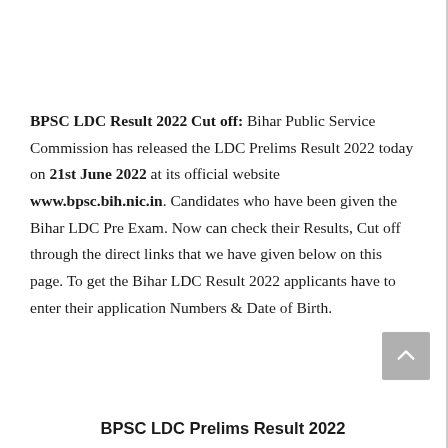BPSC LDC Result 2022 Cut off: Bihar Public Service Commission has released the LDC Prelims Result 2022 today on 21st June 2022 at its official website www.bpsc.bih.nic.in. Candidates who have been given the Bihar LDC Pre Exam. Now can check their Results, Cut off through the direct links that we have given below on this page. To get the Bihar LDC Result 2022 applicants have to enter their application Numbers & Date of Birth.
BPSC LDC Prelims Result 2022